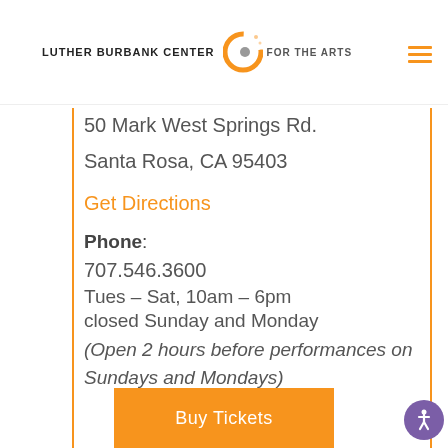LUTHER BURBANK CENTER FOR THE ARTS
50 Mark West Springs Rd.
Santa Rosa, CA 95403
Get Directions
Phone: 707.546.3600
Tues – Sat, 10am – 6pm
closed Sunday and Monday
(Open 2 hours before performances on Sundays and Mondays)
Buy Tickets